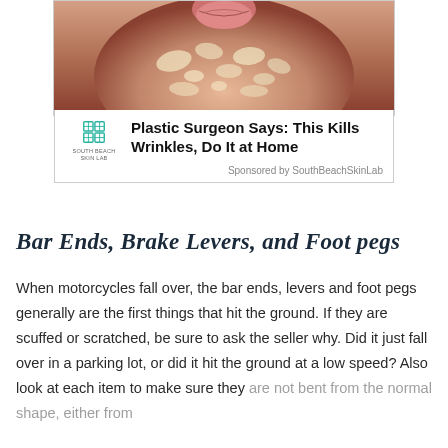[Figure (photo): Advertisement image showing a close-up of a person's face with oatmeal or cream mask applied, lips visible at top]
Plastic Surgeon Says: This Kills Wrinkles, Do It at Home
Sponsored by SouthBeachSkinLab
Bar Ends, Brake Levers, and Foot pegs
When motorcycles fall over, the bar ends, levers and foot pegs generally are the first things that hit the ground.  If they are scuffed or scratched, be sure to ask the seller why.  Did it just fall over in a parking lot, or did it hit the ground at a low speed? Also look at each item to make sure they are not bent from the normal shape, either from falling or if they were bent and then attempted to